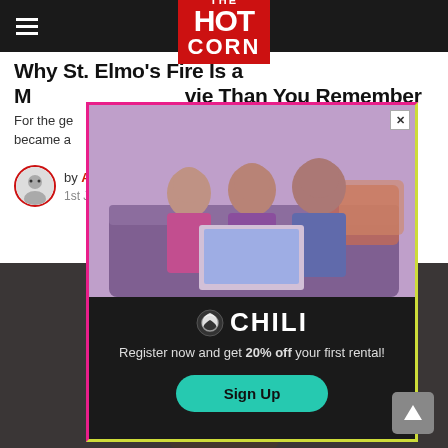THE HOT CORN
Why St. Elmo's Fire Is a M[ore] [Mo]vie Than You Remember
For the ge[neration that grew up with it, St. El]mo's Fire became a[...]
by A[...] · 1st J[...]
[Figure (photo): Advertisement overlay for CHILI streaming service. Shows a family (man, woman, child) looking at a laptop on a couch. Bottom section on dark background shows CHILI logo, text 'Register now and get 20% off your first rental!' and a teal 'Sign Up' button. Border is pink/magenta on top-left and yellow-green on bottom-right.]
[Figure (photo): Hero image showing a bearded man with large hands reaching forward, with Christmas tree in background, dark/horror aesthetic.]